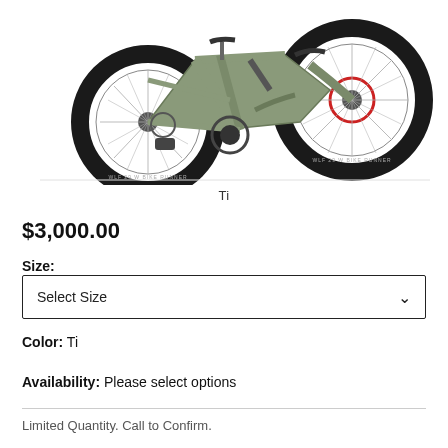[Figure (photo): Mountain bike full-suspension in olive/titanium color, showing the drivetrain side and front wheel with disc brake]
Ti
$3,000.00
Size:
Select Size
Color:  Ti
Availability:  Please select options
Limited Quantity. Call to Confirm.